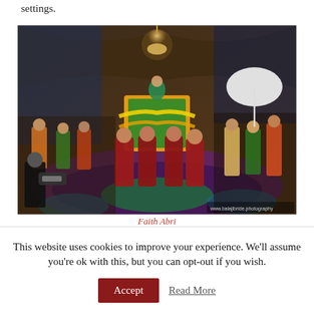settings.
[Figure (photo): A wedding celebration scene inside a large draped hall with a chandelier. Men in red sherwanis carry a decorated doli/palanquin with a bride on top dressed in green. Guests surround the colorful dance floor with floral patterns. A videographer films in the foreground; women in traditional attire stand to the right.]
Faith Abri
This website uses cookies to improve your experience. We'll assume you're ok with this, but you can opt-out if you wish.
Accept
Read More